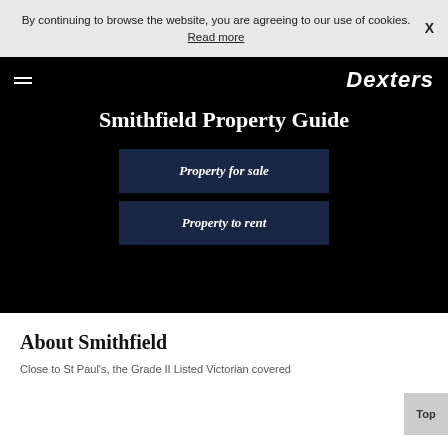By continuing to browse the website, you are agreeing to our use of cookies. Read more  X
[Figure (logo): Dexters logo in white italic text on black background, with hamburger menu icon on left]
Smithfield Property Guide
Property for sale
Property to rent
About Smithfield
Close to St Paul's, the Grade II Listed Victorian covered